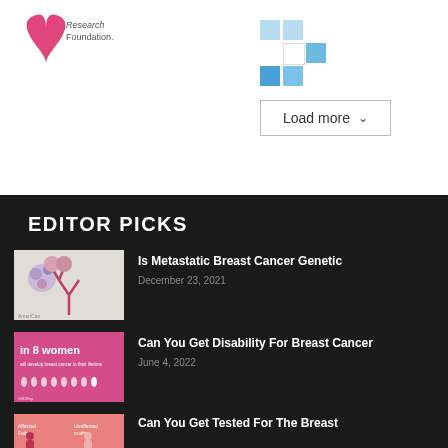[Figure (screenshot): Top white section with a breast cancer research foundation logo on the left and a blue grid/load more button UI in the center-right]
EDITOR PICKS
[Figure (illustration): Medical illustration of cancer cells / angiogenesis on white background]
Is Metastatic Breast Cancer Genetic
December 23, 2021
[Figure (infographic): Pink infographic showing 1 in 8 women will develop breast cancer with female figure icons]
Can You Get Disability For Breast Cancer
June 4, 2022
[Figure (illustration): Pink and beige illustration showing affected and unaffected relative in genetic context]
Can You Get Tested For The Breast